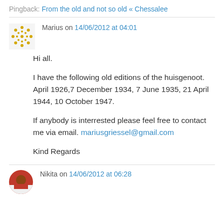Pingback: From the old and not so old « Chessalee
Marius on 14/06/2012 at 04:01
Hi all.

I have the following old editions of the huisgenoot.
April 1926,7 December 1934, 7 June 1935, 21 April 1944, 10 October 1947.

If anybody is interrested please feel free to contact me via email. mariusgriessel@gmail.com

Kind Regards
Nikita on 14/06/2012 at 06:28